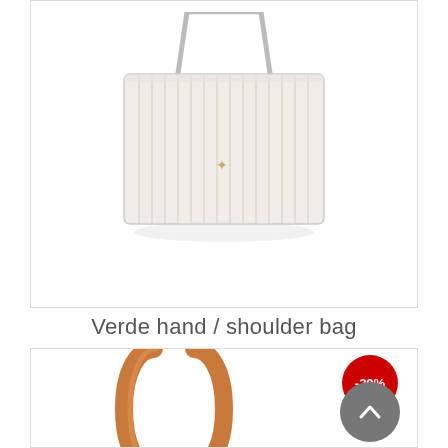[Figure (photo): White/cream textured tote handbag with silver-tone straps and small gold logo hardware, photographed on white background]
Verde hand / shoulder bag
[Figure (photo): Close-up of a tan/caramel colored leather shoulder bag strap loop, photographed on white background. A red -20% discount badge and grey scroll-to-top button overlay the image.]